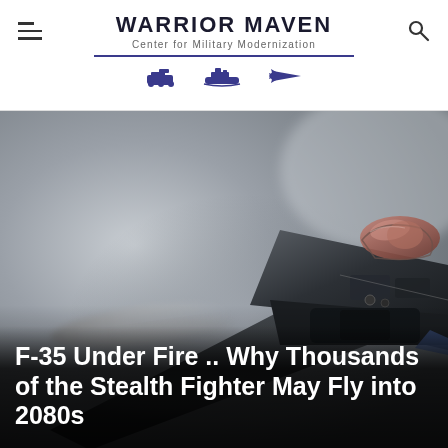WARRIOR MAVEN Center for Military Modernization
[Figure (photo): F-35 stealth fighter jet photographed from below/side angle, in flight against a grey sky background, showing the underside and cockpit]
F-35 Under Fire .. Why Thousands of the Stealth Fighter May Fly into 2080s